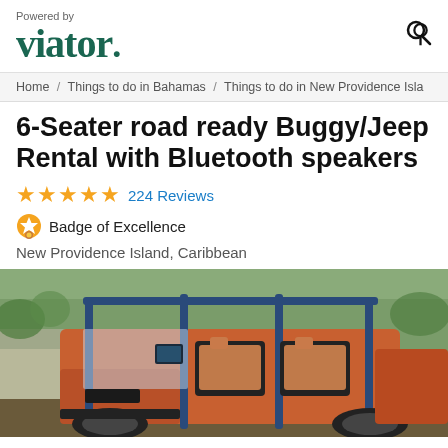Powered by viator.
Home / Things to do in Bahamas / Things to do in New Providence Isla
6-Seater road ready Buggy/Jeep Rental with Bluetooth speakers
★★★★★ 224 Reviews
🏅 Badge of Excellence
New Providence Island, Caribbean
[Figure (photo): A red/orange off-road buggy/jeep with blue roll cage parked in front of a rocky/vegetated backdrop. Multiple seats visible through open frame.]
Check Availability